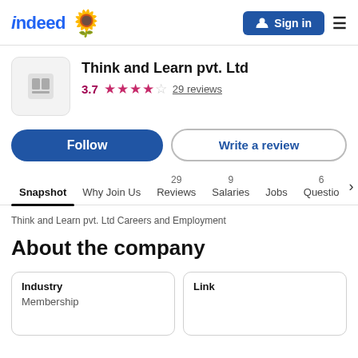indeed | Sign in
Think and Learn pvt. Ltd
3.7 ★★★★☆ 29 reviews
Follow | Write a review
Snapshot  Why Join Us  29 Reviews  9 Salaries  Jobs  6 Questio
Think and Learn pvt. Ltd Careers and Employment
About the company
Industry
Membership
Link